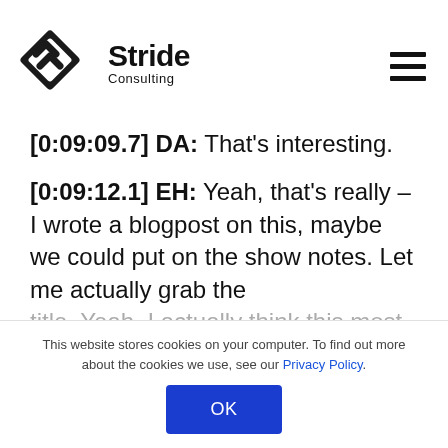[Figure (logo): Stride Consulting logo with geometric diamond/arrow icon and text 'Stride Consulting']
[0:09:09.7] DA: That’s interesting.
[0:09:12.1] EH: Yeah, that’s really – I wrote a blogpost on this, maybe we could put on the show notes. Let me actually grab the title. Yeah, I actually think this most
This website stores cookies on your computer. To find out more about the cookies we use, see our Privacy Policy.